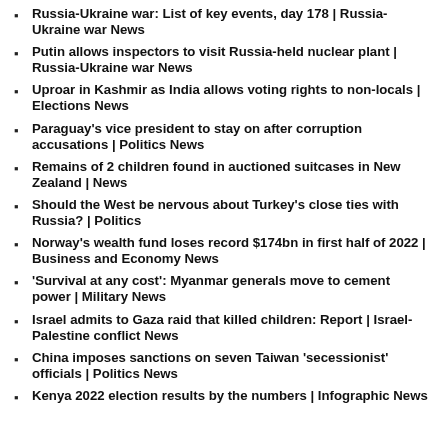Russia-Ukraine war: List of key events, day 178 | Russia-Ukraine war News
Putin allows inspectors to visit Russia-held nuclear plant | Russia-Ukraine war News
Uproar in Kashmir as India allows voting rights to non-locals | Elections News
Paraguay's vice president to stay on after corruption accusations | Politics News
Remains of 2 children found in auctioned suitcases in New Zealand | News
Should the West be nervous about Turkey's close ties with Russia? | Politics
Norway's wealth fund loses record $174bn in first half of 2022 | Business and Economy News
'Survival at any cost': Myanmar generals move to cement power | Military News
Israel admits to Gaza raid that killed children: Report | Israel-Palestine conflict News
China imposes sanctions on seven Taiwan 'secessionist' officials | Politics News
Kenya 2022 election results by the numbers | Infographic News